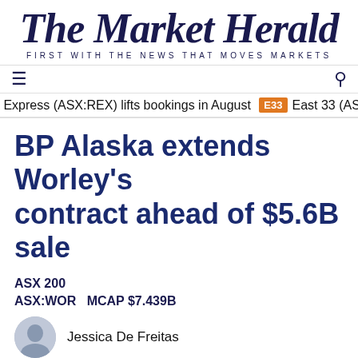The Market Herald
FIRST WITH THE NEWS THAT MOVES MARKETS
≡   🔍
Express (ASX:REX) lifts bookings in August  E33  East 33 (ASX:E3
BP Alaska extends Worley's contract ahead of $5.6B sale
ASX 200
ASX:WOR   MCAP $7.439B
Jessica De Freitas